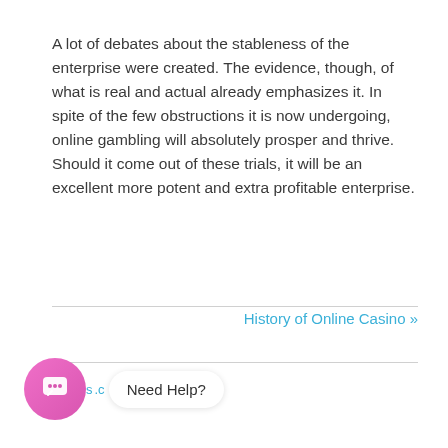A lot of debates about the stableness of the enterprise were created. The evidence, though, of what is real and actual already emphasizes it. In spite of the few obstructions it is now undergoing, online gambling will absolutely prosper and thrive. Should it come out of these trials, it will be an excellent more potent and extra profitable enterprise.
History of Online Casino »
[Figure (other): Chat widget with pink circular icon containing a chat bubble symbol and a white rounded label that says 'Need Help?']